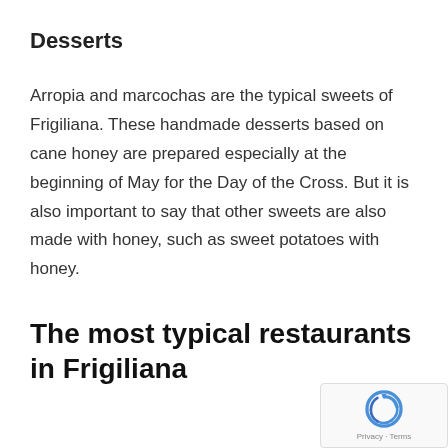Desserts
Arropia and marcochas are the typical sweets of Frigiliana. These handmade desserts based on cane honey are prepared especially at the beginning of May for the Day of the Cross. But it is also important to say that other sweets are also made with honey, such as sweet potatoes with honey.
The most typical restaurants in Frigiliana